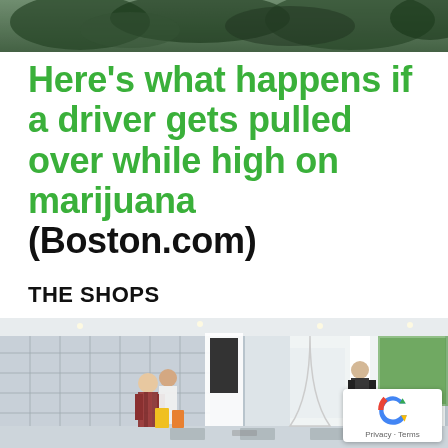[Figure (photo): Partial top image of green foliage or trees, cropped at top of page]
Here's what happens if a driver gets pulled over while high on marijuana (Boston.com)
THE SHOPS
[Figure (photo): Interior rendering of a modern retail shop/dispensary with shoppers browsing, product displays on walls, white modular shelving units, and a person in black at right]